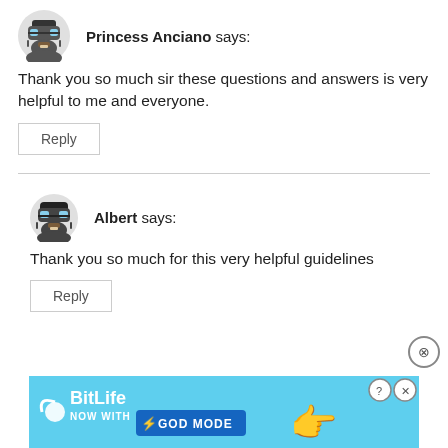Princess Anciano says:
Thank you so much sir these questions and answers is very helpful to me and everyone.
Reply
Albert says:
Thank you so much for this very helpful guidelines
Reply
[Figure (infographic): BitLife advertisement banner: NOW WITH GOD MODE with lightning bolt and hand graphic]